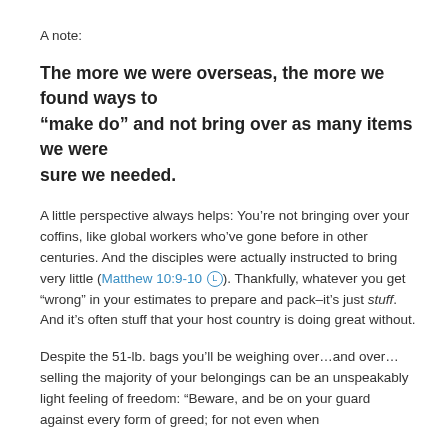A note:
The more we were overseas, the more we found ways to "make do" and not bring over as many items we were sure we needed.
A little perspective always helps: You’re not bringing over your coffins, like global workers who’ve gone before in other centuries. And the disciples were actually instructed to bring very little (Matthew 10:9-10 Ⓛ). Thankfully, whatever you get “wrong” in your estimates to prepare and pack–it’s just stuff. And it’s often stuff that your host country is doing great without.
Despite the 51-lb. bags you’ll be weighing over…and over… selling the majority of your belongings can be an unspeakably light feeling of freedom: “Beware, and be on your guard against every form of greed; for not even when